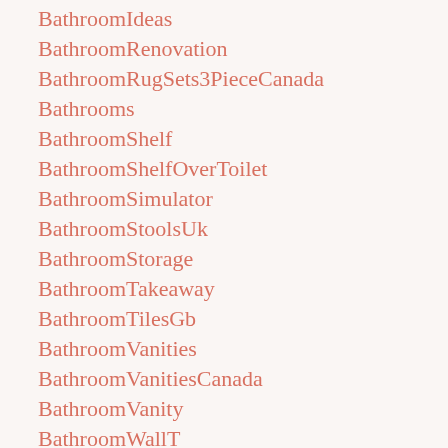BathroomIdeas
BathroomRenovation
BathroomRugSets3PieceCanada
Bathrooms
BathroomShelf
BathroomShelfOverToilet
BathroomSimulator
BathroomStoolsUk
BathroomStorage
BathroomTakeaway
BathroomTilesGb
BathroomVanities
BathroomVanitiesCanada
BathroomVanity
BathroomWallT